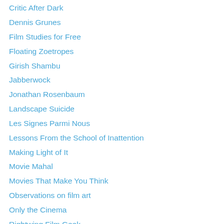Critic After Dark
Dennis Grunes
Film Studies for Free
Floating Zoetropes
Girish Shambu
Jabberwock
Jonathan Rosenbaum
Landscape Suicide
Les Signes Parmi Nous
Lessons From the School of Inattention
Making Light of It
Movie Mahal
Movies That Make You Think
Observations on film art
Only the Cinema
Rightwing Film Geek
Screenville
Scribbles and Ramblings
Serge Daney in English
Sounds, Images